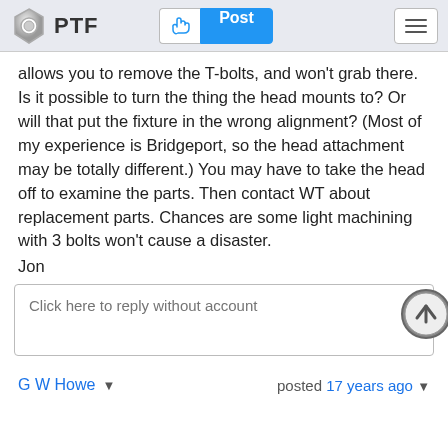PTF | Post
allows you to remove the T-bolts, and won't grab there. Is it possible to turn the thing the head mounts to? Or will that put the fixture in the wrong alignment? (Most of my experience is Bridgeport, so the head attachment may be totally different.) You may have to take the head off to examine the parts. Then contact WT about replacement parts. Chances are some light machining with 3 bolts won't cause a disaster.
Jon
Click here to reply without account
G W Howe  posted 17 years ago